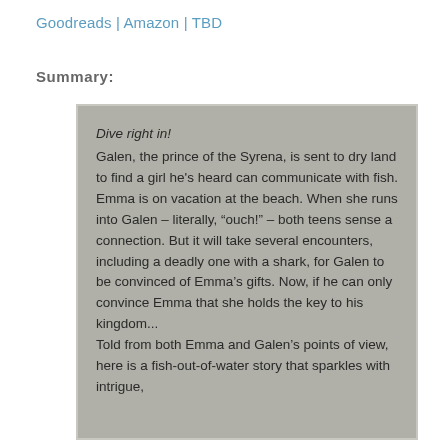Goodreads | Amazon | TBD
Summary:
Dive right in! Galen, the prince of the Syrena, is sent to dry land to find a girl he's heard can communicate with fish. Emma is on vacation at the beach. When she runs into Galen – literally, “ouch!” – both teens sense a connection. But it will take several encounters, including a deadly one with a shark, for Galen to be convinced of Emma’s gifts. Now, if he can only convince Emma that she holds the key to his kingdom... Told from both Emma and Galen’s points of view, here is a fish-out-of-water story that sparkles with intrigue,